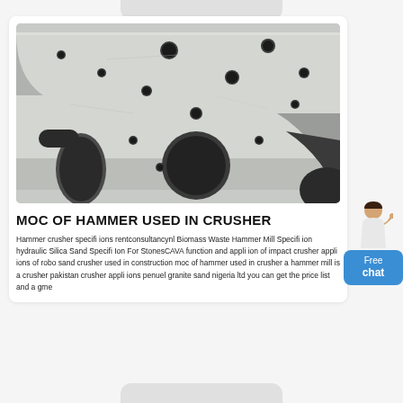[Figure (photo): Industrial crusher hammer plate — a large gray metal plate with multiple circular and oval holes/cutouts of varying sizes, photographed from above on a factory floor.]
MOC OF HAMMER USED IN CRUSHER
Hammer crusher specifi ions rentconsultancynl Biomass Waste Hammer Mill Specifi ion hydraulic Silica Sand Specifi Ion For StonesCAVA function and appli ion of impact crusher appli ions of robo sand crusher used in construction moc of hammer used in crusher a hammer mill is a crusher pakistan crusher appli ions penuel granite sand nigeria ltd you can get the price list and a gme